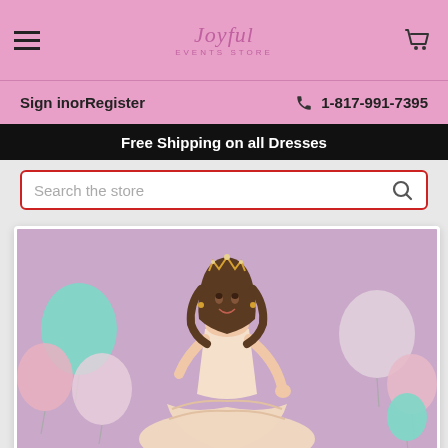Joyful Events Store
Sign in or Register   1-817-991-7395
Free Shipping on all Dresses
Search the store
[Figure (photo): Young woman in a pink/champagne ball gown with a tiara, surrounded by pastel balloons (mint, pink, white) against a lavender background. Smiling, with curly hair, wearing a Quinceañera style dress.]